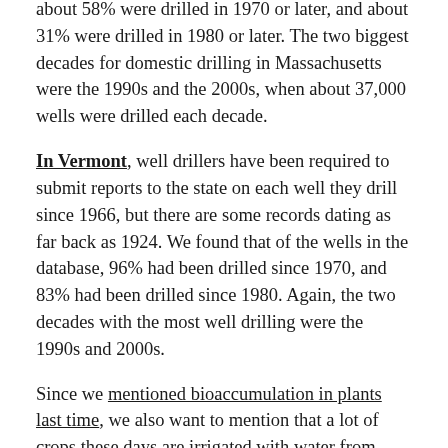about 58% were drilled in 1970 or later, and about 31% were drilled in 1980 or later. The two biggest decades for domestic drilling in Massachusetts were the 1990s and the 2000s, when about 37,000 wells were drilled each decade.
In Vermont, well drillers have been required to submit reports to the state on each well they drill since 1966, but there are some records dating as far back as 1924. We found that of the wells in the database, 96% had been drilled since 1970, and 83% had been drilled since 1980. Again, the two decades with the most well drilling were the 1990s and 2000s.
Since we mentioned bioaccumulation in plants last time, we also want to mention that a lot of crops these days are irrigated with water from drilled wells. Without getting too much into the details, it looks like most irrigation wells were also drilled pretty recently. In Kansas for example, it looks like only five of the irrigation wells on record were drilled before 1970, compared to about 22,000 wells drilled afterwards!